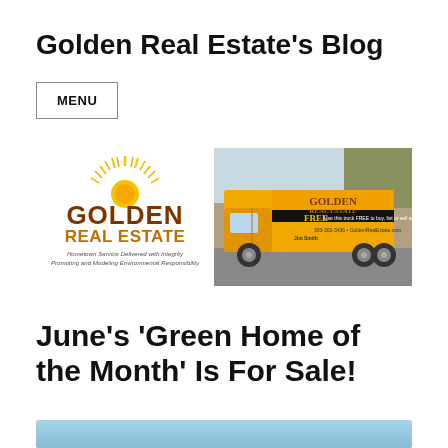Golden Real Estate's Blog
MENU
[Figure (logo): Golden Real Estate logo with sunburst graphic and tagline 'Hometown Service Delivered with Integrity / Promoting and Modeling Environmental Responsibility' alongside a yellow Golden Real Estate branded truck]
June’s ‘Green Home of the Month’ Is For Sale!
[Figure (photo): Partial view of a property photo with blue sky, cropped at the bottom of the page]